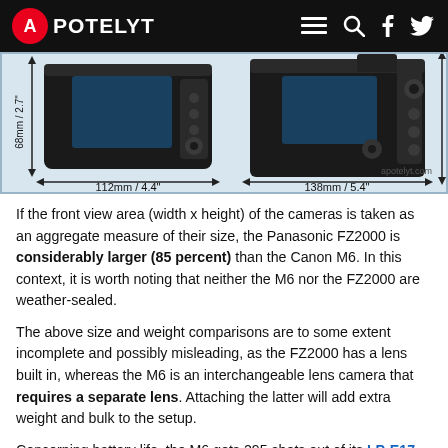APOTELYT
[Figure (photo): Side-by-side rear-view comparison of two cameras (Canon M6 and Panasonic FZ2000) with dimension annotations: Canon M6 measures 112mm / 4.4" wide and 68mm / 2.7" tall; Panasonic FZ2000 measures 138mm / 5.4" wide and 102mm / 4" tall. Attribution: apotelyt.com]
If the front view area (width x height) of the cameras is taken as an aggregate measure of their size, the Panasonic FZ2000 is considerably larger (85 percent) than the Canon M6. In this context, it is worth noting that neither the M6 nor the FZ2000 are weather-sealed.
The above size and weight comparisons are to some extent incomplete and possibly misleading, as the FZ2000 has a lens built in, whereas the M6 is an interchangeable lens camera that requires a separate lens. Attaching the latter will add extra weight and bulk to the setup.
Concerning battery life, the M6 gets 295 shots out of its LP-E17 battery, while the FZ2000 can take 350 images on a